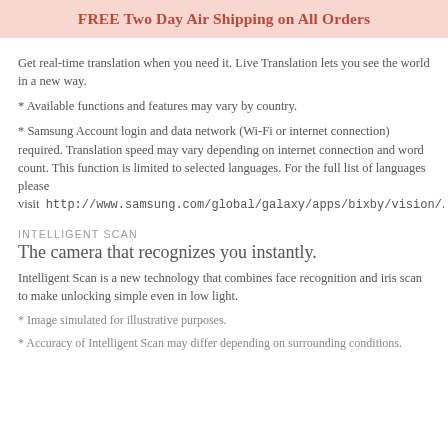FREE Two Day Air Shipping on All Orders
Get real-time translation when you need it. Live Translation lets you see the world in a new way.
* Available functions and features may vary by country.
* Samsung Account login and data network (Wi-Fi or internet connection) required. Translation speed may vary depending on internet connection and word count. This function is limited to selected languages. For the full list of languages please visit  http://www.samsung.com/global/galaxy/apps/bixby/vision/.
INTELLIGENT SCAN
The camera that recognizes you instantly.
Intelligent Scan is a new technology that combines face recognition and iris scan to make unlocking simple even in low light.
* Image simulated for illustrative purposes.
* Accuracy of Intelligent Scan may differ depending on surrounding conditions.